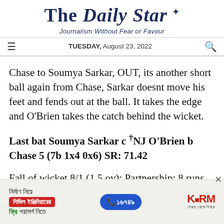The Daily Star
Journalism Without Fear or Favour
TUESDAY, August 23, 2022
Chase to Soumya Sarkar, OUT, its another short ball again from Chase, Sarkar doesnt move his feet and fends out at the ball. It takes the edge and O'Brien takes the catch behind the wicket.
Last bat Soumya Sarkar c †NJ O'Brien b Chase 5 (7b 1x4 0x6) SR: 71.42
Fall of wicket 8/1 (1.5 ov); Partnership: 8 runs, 1.5
[Figure (other): Advertisement banner for KSRM civil engineering consultation service in Bengali language with phone number 16749]